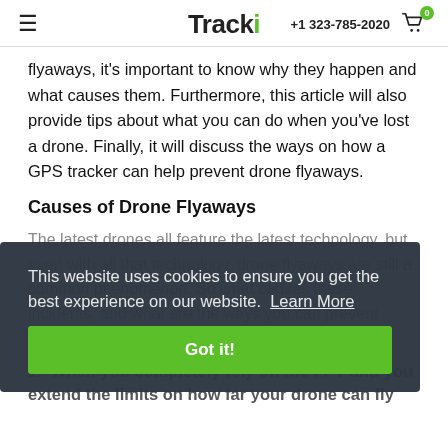Tracki | +1 323-785-2020
flyaways, it's important to know why they happen and what causes them. Furthermore, this article will also provide tips about what you can do when you've lost a drone. Finally, it will discuss the ways on how a GPS tracker can help prevent drone flyaways.
Causes of Drone Flyaways
The latest drones all feature the latest technology, but even with all that technology, drone flyaways are still a common phenomenon. So what causes these incidents, and what are the ways you can prevent them?
This website uses cookies to ensure you get the best experience on our website. Learn More
Got it!
1. When you completely rely on the FPV and you extend the limits on how far your drone can fly